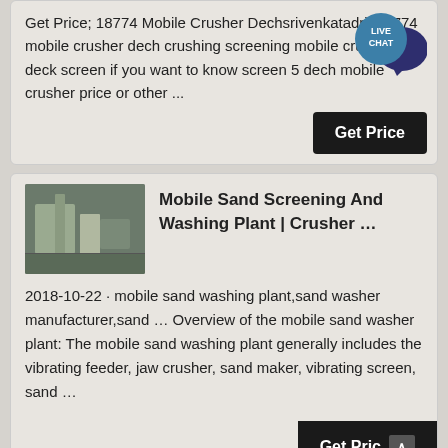Get Price; 18774 Mobile Crusher Dechsrivenkatadri. 18774 mobile crusher dech crushing screening mobile crusher 5 deck screen if you want to know screen 5 dech mobile crusher price or other ...
[Figure (other): Live Chat bubble widget with teal circle labeled LIVE CHAT and dark blue speech bubble icon]
Mobile Sand Screening And Washing Plant | Crusher …
[Figure (photo): Thumbnail photo of industrial sand screening and washing plant machinery]
2018-10-22 · mobile sand washing plant,sand washer manufacturer,sand … Overview of the mobile sand washer plant: The mobile sand washing plant generally includes the vibrating feeder, jaw crusher, sand maker, vibrating screen, sand …